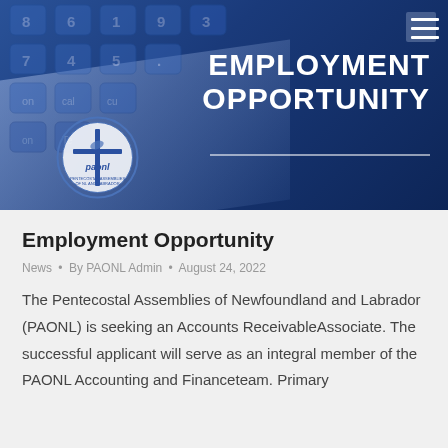[Figure (photo): Blue-toned banner image showing a calculator keyboard in the background with 'EMPLOYMENT OPPORTUNITY' text overlay in bold white uppercase letters, a horizontal divider line below the text, and the PAONL circular logo in the lower left. A hamburger menu icon appears in the top right corner.]
Employment Opportunity
News • By PAONL Admin • August 24, 2022
The Pentecostal Assemblies of Newfoundland and Labrador (PAONL) is seeking an Accounts ReceivableAssociate. The successful applicant will serve as an integral member of the PAONL Accounting and Financeteam. Primary